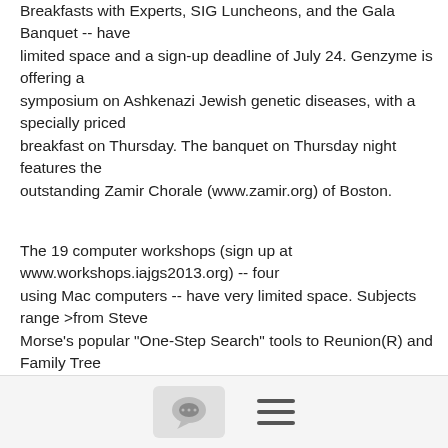Breakfasts with Experts, SIG Luncheons, and the Gala Banquet -- have limited space and a sign-up deadline of July 24. Genzyme is offering a symposium on Ashkenazi Jewish genetic diseases, with a specially priced breakfast on Thursday. The banquet on Thursday night features the outstanding Zamir Chorale (www.zamir.org) of Boston.
The 19 computer workshops (sign up at www.workshops.iajgs2013.org) -- four using Mac computers -- have very limited space. Subjects range >from Steve Morse's popular "One-Step Search" tools to Reunion(R) and Family Tree Maker(R) genealogy software. The hands-on workshops can teach you new skills in doing research in Bessarabia, Hungary, Lithuania, or
[Figure (other): Bottom navigation bar with a chat/comment icon button and a hamburger menu icon]